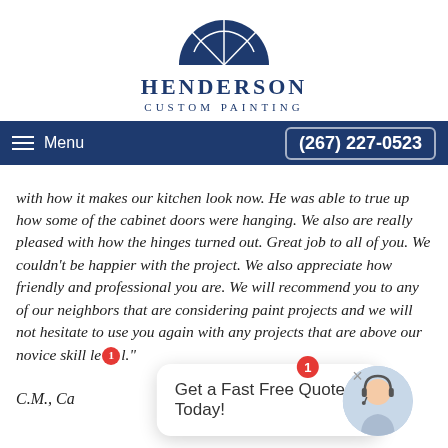[Figure (logo): Henderson Custom Painting logo — dark navy blue semi-circle/fanlight window shape with radial dividers, above the company name text]
HENDERSON CUSTOM PAINTING
Menu   (267) 227-0523
with how it makes our kitchen look now. He was able to true up how some of the cabinet doors were hanging. We also are really pleased with how the hinges turned out. Great job to all of you. We couldn't be happier with the project. We also appreciate how friendly and professional you are. We will recommend you to any of our neighbors that are considering paint projects and we will not hesitate to use you again with any projects that are above our novice skill le[vel]."
C.M., Ca[rswell]
Get a Fast Free Quote Today!